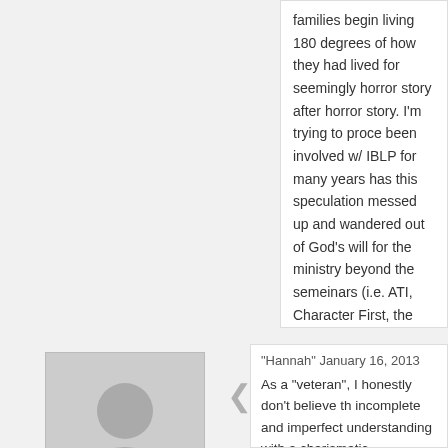families begin living 180 degrees of how they had lived for seemingly horror story after horror story. I'm trying to proce been involved w/ IBLP for many years has this speculation messed up and wandered out of God's will for the ministry beyond the semeinars (i.e. ATI, Character First, the trainin of you all had an opinion on the matter. I just can't shake th away with from primarily the Basic.
[Figure (illustration): Generic user avatar placeholder image showing a grey silhouette of a person (head and shoulders) on a light grey background]
"Hannah" January 16, 2013
As a "veteran", I honestly don't believe th incomplete and imperfect understanding with a charismatic, persuasive personalit glamourous movement devoid of grace, a could have gone either Christian or secu Christian. Perhaps the secular route wou so many followers. He had the ability to c out of nothing. Which is why you find soli the movement. It was built on nothing of
The conspicuous absence of the doctrine works-based mentality, is outlined in the